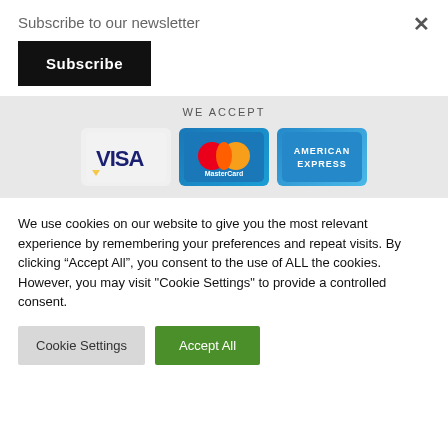Subscribe to our newsletter
Subscribe
WE ACCEPT
[Figure (logo): Payment method logos: VISA, MasterCard, American Express]
We use cookies on our website to give you the most relevant experience by remembering your preferences and repeat visits. By clicking “Accept All”, you consent to the use of ALL the cookies. However, you may visit "Cookie Settings" to provide a controlled consent.
Cookie Settings
Accept All